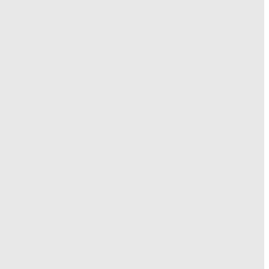[507] [508] [509] [510] [511] [512] [513] [523] [524] [525] [526] [527] [528] [529] [539] [540] [541] [542] [543] [544] [545] [555] [556] [557] [558] [559] [560] [561] [571] [572] [573] [574] [575] [576] [577] [587] [588] [589] [590] [591] [592] [593] [603] [604] [605] [606] [607] [608] [609] [619] [620] [621] [622] [623] [624] [625] [635] [636] [637] [638] [639] [640] [641] [651] [652] [653] [654] [655] [656] [657] [667] [668] [669] [670] [671] [672] [673] [683] [684] [685] [686] [687] [688] [689] [699] [700] [701] [702] [703] [704] [705] [715] [716] [717] [718] [719] [720] [721] [731] [732] [733] [734] [735] [736] [737] [747] [748] [749] [750] [751] [752] [753] [763] [764] [765] [766] [767] [768] [769] [779] [780] [781] [782] [783] [784] [785] [795] [796] [797] [798] [799] [800] [801] [811] [812] [813] [814] [815] [816] [817] [827] [828] [829] [830] [831] [832] [833] [843] [844] [845] [846] [847] [848] [849] [859] [860] [861] [862] [863] [864] [865] [875] [876] [877] [878] [879] [880] [881] [891] [892] [893] [894] [895] [896] [897] [907] [908] [909] [910] [911] [912] [913] [923] [924] [925] [926] [927] [928] [929] [939] [940] [941] [942] [943] [944] [945] [955] [956] [957] [958] [959] [960] [961] [971] [972] [973] [974] [975] [976] [977] [987] [988] [989] [990] [991] [992] [993] [1003] [1004] [1005] [1006] [1007] [10...]